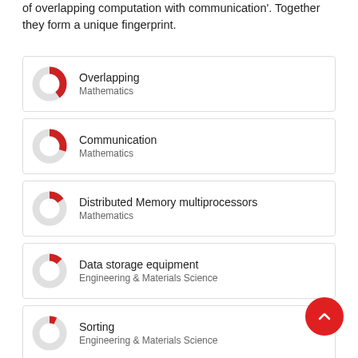of overlapping computation with communication'. Together they form a unique fingerprint.
Overlapping — Mathematics
Communication — Mathematics
Distributed Memory multiprocessors — Mathematics
Data storage equipment — Engineering & Materials Science
Sorting — Engineering & Materials Science
Overlap — Mathematics